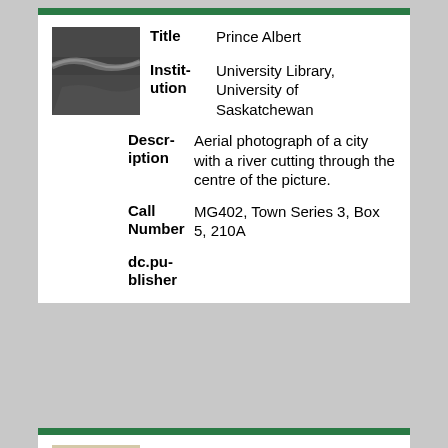[Figure (photo): Aerial black-and-white photograph of Prince Albert, a city with a river cutting through the centre]
| Title | Prince Albert |
| Institution | University Library, University of Saskatchewan |
| Description | Aerial photograph of a city with a river cutting through the centre of the picture. |
| Call Number | MG402, Town Series 3, Box 5, 210A |
| dc.publisher |  |
[Figure (photo): Scanned invoice document for Angus McKay from WM. Shannon]
| Title | Invoice for Angus McKay from WM. Shannon: |